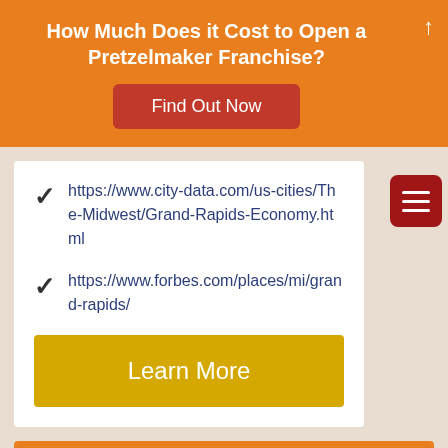How Much Does it Cost to Open a Pretzelmaker Franchise?
Find Out Now
https://www.city-data.com/us-cities/The-Midwest/Grand-Rapids-Economy.html
https://www.forbes.com/places/mi/grand-rapids/
Learn More
Download the Free